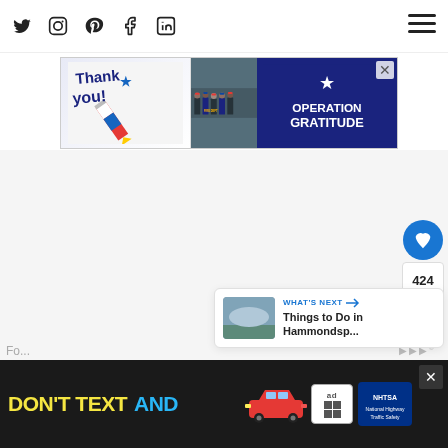Social media icons: Twitter, Instagram, Pinterest, Facebook, LinkedIn; Hamburger menu
[Figure (photo): Operation Gratitude advertisement banner with 'Thank you!' text, American flag themed pencil graphic, photo of firefighters, and Operation Gratitude logo on dark blue background]
[Figure (screenshot): White/light gray content area (main page body, mostly blank)]
[Figure (infographic): Right sidebar with heart/like button (blue circle), count '424', and share button]
[Figure (screenshot): What's Next card showing thumbnail image and text 'Things to Do in Hammondsp...']
[Figure (photo): Bottom advertisement banner: 'DON'T TEXT AND' in yellow/cyan on black background, red car graphic, ad badge, NHTSA logo]
Fo...